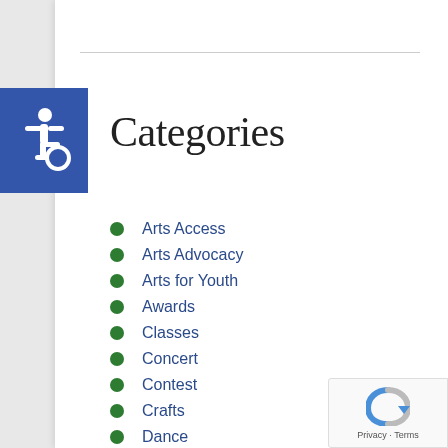[Figure (logo): Blue accessibility icon (wheelchair symbol) on a dark blue square background]
Categories
Arts Access
Arts Advocacy
Arts for Youth
Awards
Classes
Concert
Contest
Crafts
Dance
Events
Gallery
Grant Opportunities
Grant Workshops
Literary Interests